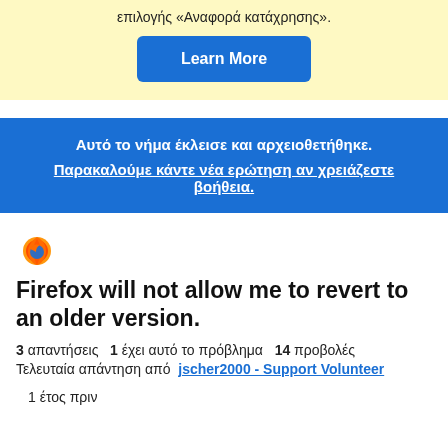επιλογής «Αναφορά κατάχρησης».
Learn More
Αυτό το νήμα έκλεισε και αρχειοθετήθηκε. Παρακαλούμε κάντε νέα ερώτηση αν χρειάζεστε βοήθεια.
[Figure (logo): Firefox flame logo icon]
Firefox will not allow me to revert to an older version.
3 απαντήσεις  1 έχει αυτό το πρόβλημα  14 προβολές  Τελευταία απάντηση από jscher2000 - Support Volunteer
1 έτος πριν